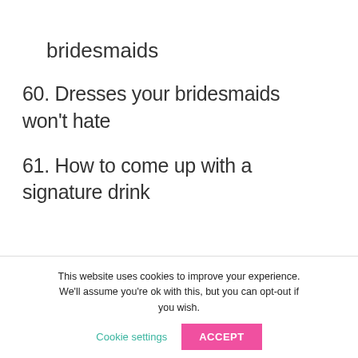≡  🔍
bridesmaids
60. Dresses your bridesmaids won't hate
61. How to come up with a signature drink
This website uses cookies to improve your experience. We'll assume you're ok with this, but you can opt-out if you wish. Cookie settings ACCEPT